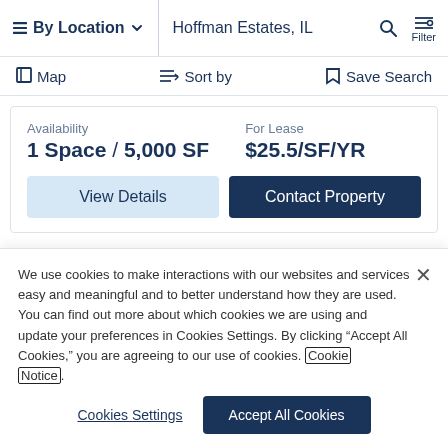By Location  Hoffman Estates, IL  Filter
Map  Sort by  Save Search
Availability 1 Space / 5,000 SF  For Lease $25.5/SF/YR
View Details  Contact Property
We use cookies to make interactions with our websites and services easy and meaningful and to better understand how they are used. You can find out more about which cookies we are using and update your preferences in Cookies Settings. By clicking “Accept All Cookies,” you are agreeing to our use of cookies. Cookie Notice.
Cookies Settings  Accept All Cookies